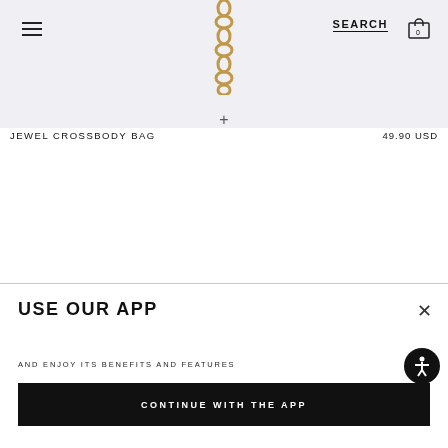[Figure (photo): Product photo showing a jewel crossbody bag chain strap against a light background, with a hamburger menu icon on the left, SEARCH button and cart icon on the right in the header.]
JEWEL CROSSBODY BAG
49.90 USD
USE OUR APP
AND ENJOY ITS BENEFITS AND FEATURES
CONTINUE WITH THE APP